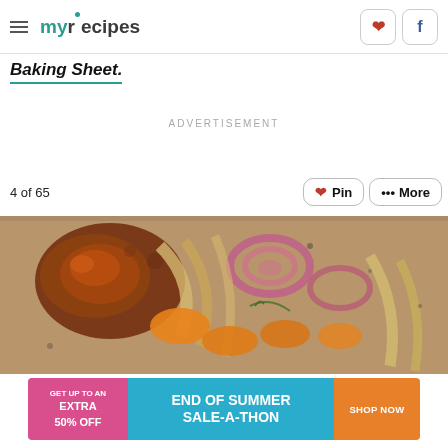myrecipes
Baking Sheet.
ADVERTISEMENT
4 of 65
[Figure (photo): Roasted chicken thighs on a baking sheet with caramelized vegetables including fennel, red onions, and carrots.]
[Figure (infographic): Ad banner: GET UP TO AN EXTRA 50% OFF — END OF SUMMER SALE-A-THON — SHOP NOW]